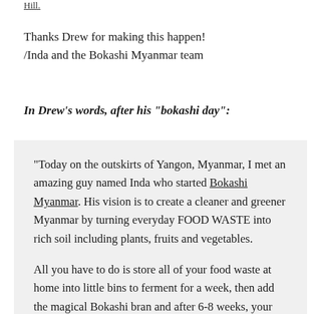Hill.
Thanks Drew for making this happen!
/Inda and the Bokashi Myanmar team
In Drew’s words, after his “bokashi day”:
“Today on the outskirts of Yangon, Myanmar, I met an amazing guy named Inda who started Bokashi Myanmar. His vision is to create a cleaner and greener Myanmar by turning everyday FOOD WASTE into rich soil including plants, fruits and vegetables.

All you have to do is store all of your food waste at home into little bins to ferment for a week, then add the magical Bokashi bran and after 6-8 weeks, your food waste transforms into living soil.